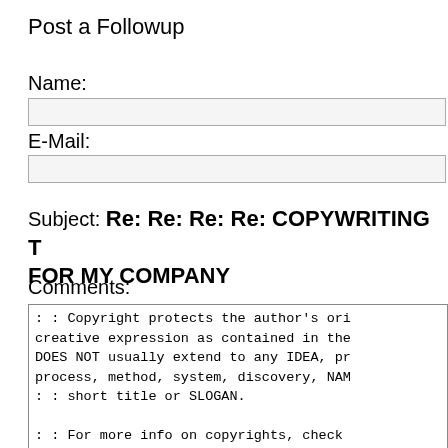Post a Followup
Name:
E-Mail:
Subject: Re: Re: Re: Re: COPYWRITING T... FOR MY COMPANY
Comments:
: : Copyright protects the author's ori creative expression as contained in the DOES NOT usually extend to any IDEA, pr process, method, system, discovery, NAM : : short title or SLOGAN.

: : For more info on copyrights, check www.copyrightpros.com.

: : Trademark protects names, slogans a
Optional Link URL:
http://
Link Title: